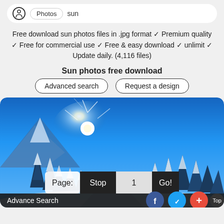Free download sun photos files in .jpg format ✓ Premium quality ✓ Free for commercial use ✓ Free & easy download ✓ unlimit ✓ Update daily. (4,116 files)
Sun photos free download
Advanced search | Request a design
[Figure (photo): Winter landscape with bright sun shining over snow-covered pine trees and mountains, blue sky]
Page: Stop 1 Go!
Advance Search